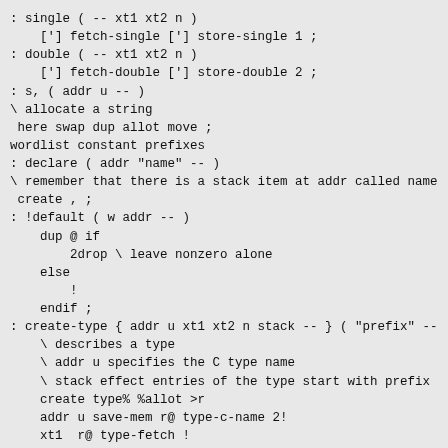: single ( -- xt1 xt2 n )
    ['] fetch-single ['] store-single 1 ;
: double ( -- xt1 xt2 n )
    ['] fetch-double ['] store-double 2 ;
: s, ( addr u -- )
\ allocate a string
 here swap dup allot move ;
wordlist constant prefixes
: declare ( addr "name" -- )
\ remember that there is a stack item at addr called name
 create , ;
: !default ( w addr -- )
    dup @ if
        2drop \ leave nonzero alone
    else
        !
    endif ;
: create-type { addr u xt1 xt2 n stack -- } ( "prefix" --
    \ describes a type
    \ addr u specifies the C type name
    \ stack effect entries of the type start with prefix
    create type% %allot >r
    addr u save-mem r@ type-c-name 2!
    xt1  r@ type-fetch !